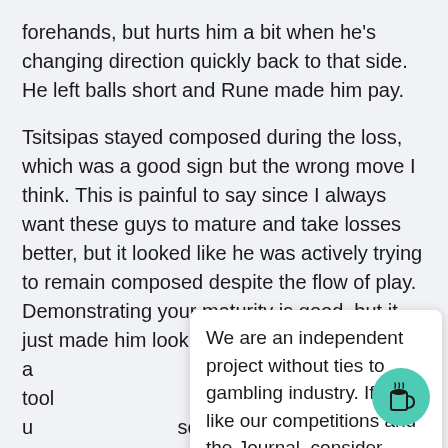forehands, but hurts him a bit when he's changing direction quickly back to that side. He left balls short and Rune made him pay.
Tsitsipas stayed composed during the loss, which was a good sign but the wrong move I think. This is painful to say since I always want these guys to mature and take losses better, but it looked like he was actively trying to remain composed despite the flow of play. Demonstrating your maturity is good, but it just made him look a result and Rune tool s pick you up as an u scoreline so it woul o fire himself u ne was a bit nervou . He'll need to work o nd but overa fo and nobody can win em all.
We are an independent project without ties to gambling industry. If you like our competitions and the Journal, consider buying us a beer!